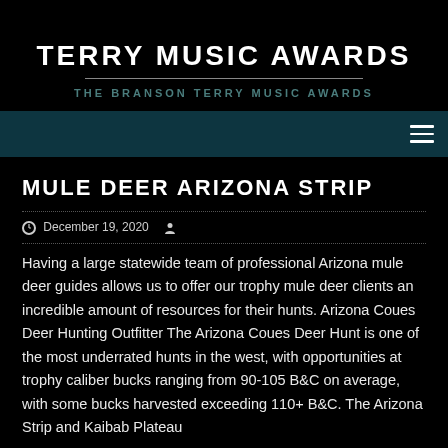Terry Music Awards
TERRY MUSIC AWARDS
THE BRANSON TERRY MUSIC AWARDS
MULE DEER ARIZONA STRIP
December 19, 2020
Having a large statewide team of professional Arizona mule deer guides allows us to offer our trophy mule deer clients an incredible amount of resources for their hunts. Arizona Coues Deer Hunting Outfitter The Arizona Coues Deer Hunt is one of the most underrated hunts in the west, with opportunities at trophy caliber bucks ranging from 90-105 B&C on average, with some bucks harvested exceeding 110+ B&C. The Arizona Strip and Kaibab Plateau